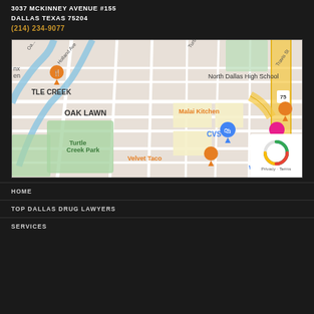3037 MCKINNEY AVENUE #155
DALLAS TEXAS 75204
(214) 234-9077
[Figure (map): Google Maps view of the Oak Lawn / Turtle Creek area of Dallas, Texas. Shows North Dallas High School, Turtle Creek Park, Malai Kitchen, CVS, The Rustic, Velvet Taco, Kroger Fresh F[aire], Whataburg[er], highway 75, and various streets.]
HOME
TOP DALLAS DRUG LAWYERS
SERVICES